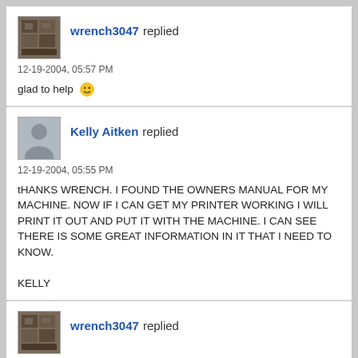wrench3047 replied
12-19-2004, 05:57 PM
glad to help 😀
Kelly Aitken replied
12-19-2004, 05:55 PM
tHANKS WRENCH. I FOUND THE OWNERS MANUAL FOR MY MACHINE. NOW IF I CAN GET MY PRINTER WORKING I WILL PRINT IT OUT AND PUT IT WITH THE MACHINE. I CAN SEE THERE IS SOME GREAT INFORMATION IN IT THAT I NEED TO KNOW.

KELLY
wrench3047 replied
12-19-2004, 05:26 PM
manual